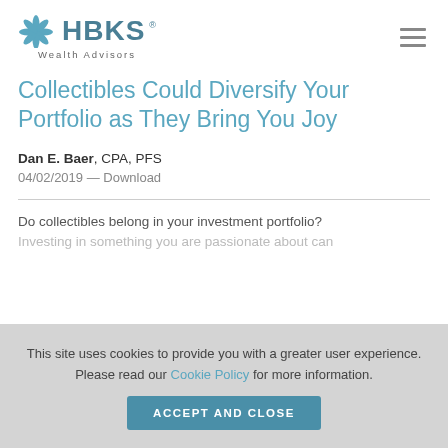HBKS Wealth Advisors
Collectibles Could Diversify Your Portfolio as They Bring You Joy
Dan E. Baer, CPA, PFS
04/02/2019 — Download
Do collectibles belong in your investment portfolio? Investing in something you are passionate about can
This site uses cookies to provide you with a greater user experience. Please read our Cookie Policy for more information.